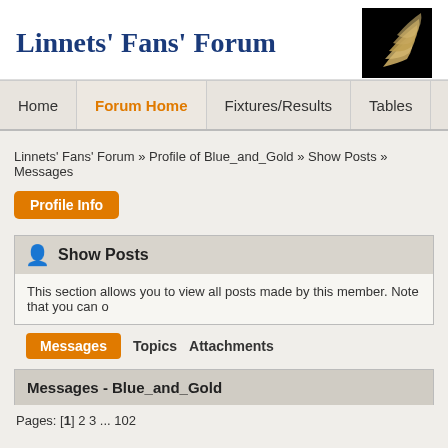Linnets' Fans' Forum
[Figure (logo): Black background logo with gold/tan wing or feather design]
Home | Forum Home | Fixtures/Results | Tables | Links
Linnets' Fans' Forum » Profile of Blue_and_Gold » Show Posts » Messages
Profile Info
Show Posts
This section allows you to view all posts made by this member. Note that you can o
Messages  Topics  Attachments
Messages - Blue_and_Gold
Pages: [1] 2 3 ... 102